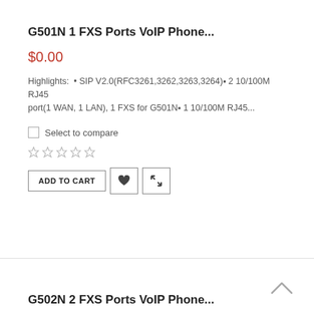G501N 1 FXS Ports VoIP Phone...
$0.00
Highlights:  • SIP V2.0(RFC3261,3262,3263,3264)▪ 2 10/100M RJ45 port(1 WAN, 1 LAN), 1 FXS for G501N▪ 1 10/100M RJ45...
Select to compare
G502N 2 FXS Ports VoIP Phone...